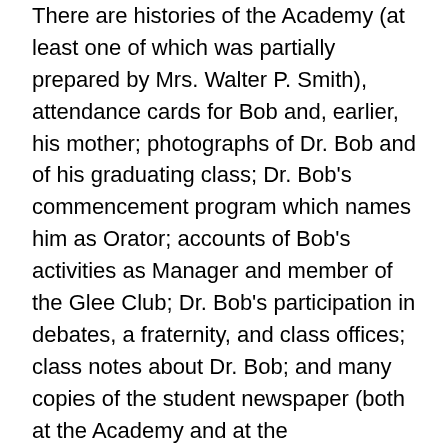There are histories of the Academy (at least one of which was partially prepared by Mrs. Walter P. Smith), attendance cards for Bob and, earlier, his mother; photographs of Dr. Bob and of his graduating class; Dr. Bob's commencement program which names him as Orator; accounts of Bob's activities as Manager and member of the Glee Club; Dr. Bob's participation in debates, a fraternity, and class offices; class notes about Dr. Bob; and many copies of the student newspaper (both at the Academy and at the Athenaeum). Papers also show Bob's mother as an Academy student, then an Academy teacher, then an active member of the Alumni Executive Committee, presenter of a large portion of the school's history at major celebrations, and author of two chapters of a book on the history of the Academy.
Robert Holbrook Smith (A.A.'s Dr. Bob)–who was born